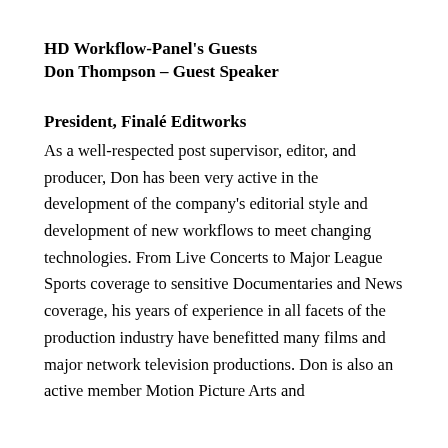HD Workflow-Panel's Guests
Don Thompson – Guest Speaker
President, Finalé Editworks
As a well-respected post supervisor, editor, and producer, Don has been very active in the development of the company's editorial style and development of new workflows to meet changing technologies. From Live Concerts to Major League Sports coverage to sensitive Documentaries and News coverage, his years of experience in all facets of the production industry have benefitted many films and major network television productions. Don is also an active member Motion Picture Arts and